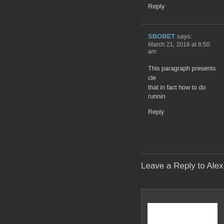Reply
SBOBET says:
March 21, 2018 at 8:50 am
This paragraph presents cle... that in fact how to do runnin...
Reply
Leave a Reply to Alex
[Figure (other): White text input area / comment form box]